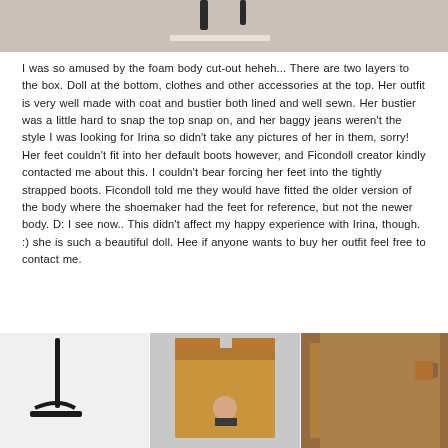[Figure (photo): Top portion of a photo showing what appears to be a doll stand or accessory on a light surface, cropped at the top of the page.]
I was so amused by the foam body cut-out heheh... There are two layers to the box. Doll at the bottom, clothes and other accessories at the top. Her outfit is very well made with coat and bustier both lined and well sewn. Her bustier was a little hard to snap the top snap on, and her baggy jeans weren't the style I was looking for Irina so didn't take any pictures of her in them, sorry! Her feet couldn't fit into her default boots however, and Ficondoll creator kindly contacted me about this. I couldn't bear forcing her feet into the tightly strapped boots. Ficondoll told me they would have fitted the older version of the body where the shoemaker had the feet for reference, but not the newer body. D: I see now.. This didn't affect my happy experience with Irina, though. :) she is such a beautiful doll. Hee if anyone wants to buy her outfit feel free to contact me.
[Figure (photo): Three photos side by side at the bottom: left shows a black doll stand on white background, center shows a doll inside an open cardboard box, right shows the inside of what appears to be a brown cardboard box lid.]